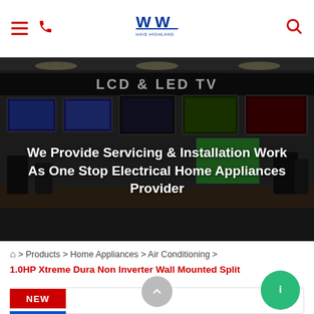Navigation bar with hamburger menu, phone icon, Hais Highland logo, and search icon
[Figure (photo): Blurred electronics store interior showing LCD & LED TV section with display screens and product shelves]
We Provide Servicing & Installation Work As One Stop Electrical Home Appliances Provider
🏠 > Products > Home Appliances > Air Conditioning > 1.0HP Xtreme Dura Non Inverter Wall Mounted Split
[Figure (other): Green circular chat/info button]
NEW
GOOD